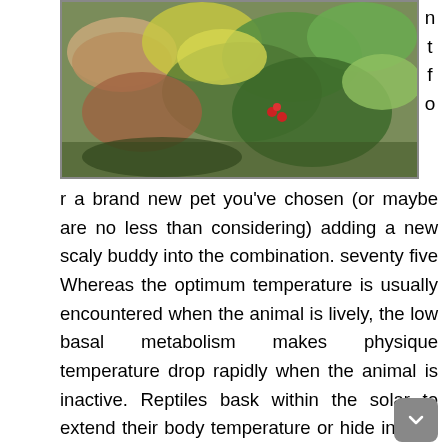[Figure (photo): A photo of colorful leaves including green, yellow, and reddish-brown foliage with some red berries visible]
n t f o
r a brand new pet you've chosen (or maybe are no less than considering) adding a new scaly buddy into the combination. seventy five Whereas the optimum temperature is usually encountered when the animal is lively, the low basal metabolism makes physique temperature drop rapidly when the animal is inactive. Reptiles bask within the solar to extend their body temperature or hide in their burrows or in water to cool down.
You may learn about reptiles and exotic animals at stay seminars and demonstrations. Coloration is gray, dark olive, or black with a slender orange band around the neck. Hylonomus and small amphibians hunted for